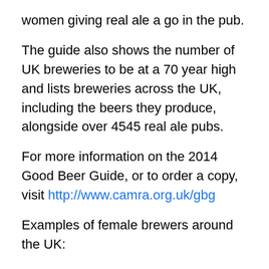women giving real ale a go in the pub.
The guide also shows the number of UK breweries to be at a 70 year high and lists breweries across the UK, including the beers they produce, alongside over 4545 real ale pubs.
For more information on the 2014 Good Beer Guide, or to order a copy, visit http://www.camra.org.uk/gbg
Examples of female brewers around the UK:
•Tara Mallinson, Mallinson's Brewery – Huddersfield, West Yorkshire
•Sara Barton, Brewster's Brewing Co – Grantham Lincolnshire
•Emma Gilleland, Marston's Brewery – Wolverhampton, West Midlands